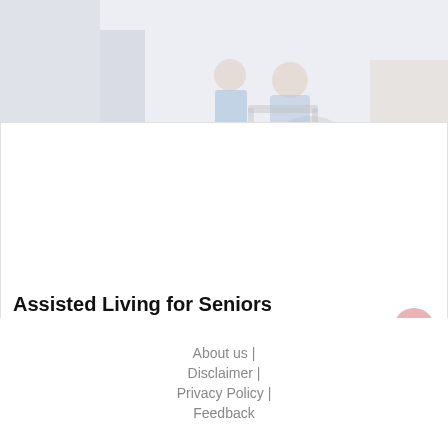[Figure (screenshot): Advertisement banner for Virginia Tire & Auto of Ashburn showing tire and auto logo, brake special offer text, and navigation arrow icon]
[Figure (photo): Faded/light photo of a healthcare worker helping a senior in a wheelchair, in an assisted living setting]
Assisted Living for Seniors
Collington offers health and wellness choices to provide support for your loved one
Collington
About us | Disclaimer | Privacy Policy | Feedback